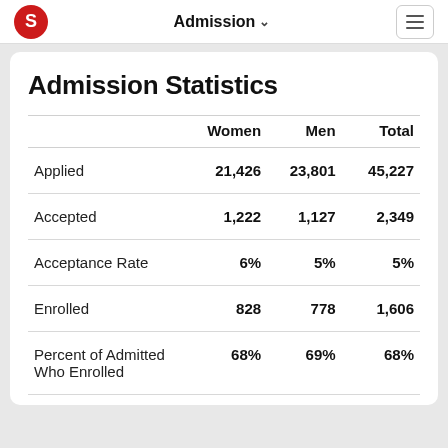Admission
Admission Statistics
|  | Women | Men | Total |
| --- | --- | --- | --- |
| Applied | 21,426 | 23,801 | 45,227 |
| Accepted | 1,222 | 1,127 | 2,349 |
| Acceptance Rate | 6% | 5% | 5% |
| Enrolled | 828 | 778 | 1,606 |
| Percent of Admitted Who Enrolled | 68% | 69% | 68% |